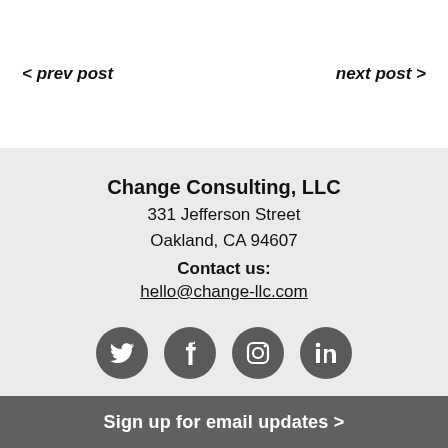< prev post
next post >
Change Consulting, LLC
331 Jefferson Street
Oakland, CA 94607
Contact us:
hello@change-llc.com
[Figure (illustration): Four social media icons (Twitter, Facebook, Instagram, LinkedIn) as dark grey circles with white icons]
Sign up for email updates >